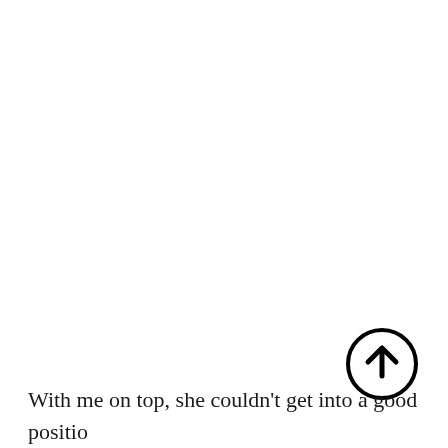[Figure (illustration): A circular up-arrow icon (upward pointing arrow inside a circle), black outline on white background, positioned in the lower-right area of the page.]
With me on top, she couldn't get into a good position to help defend against the strain of her back